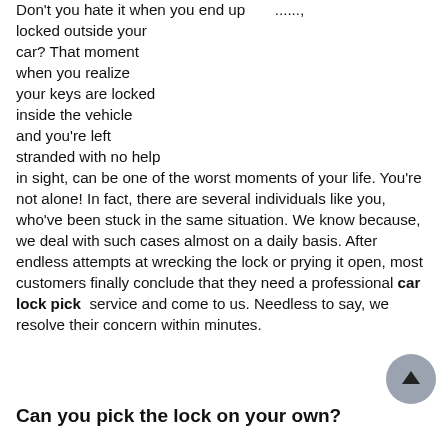Don't you hate it when you end up locked outside your car? That moment when you realize your keys are locked inside the vehicle and you're left stranded with no help in sight, can be one of the worst moments of your life. You're not alone! In fact, there are several individuals like you, who've been stuck in the same situation. We know because, we deal with such cases almost on a daily basis. After endless attempts at wrecking the lock or prying it open, most customers finally conclude that they need a professional car lock pick service and come to us. Needless to say, we resolve their concern within minutes.
Can you pick the lock on your own?